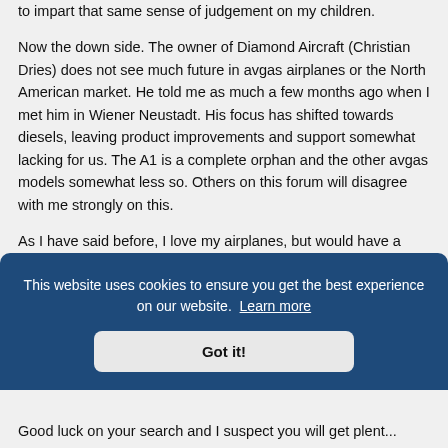to impart that same sense of judgement on my children.
Now the down side. The owner of Diamond Aircraft (Christian Dries) does not see much future in avgas airplanes or the North American market. He told me as much a few months ago when I met him in Wiener Neustadt. His focus has shifted towards diesels, leaving product improvements and support somewhat lacking for us. The A1 is a complete orphan and the other avgas models somewhat less so. Others on this forum will disagree with me strongly on this.
As I have said before, I love my airplanes, but would have a
[Figure (screenshot): Cookie consent banner overlay with dark blue background. Text reads: 'This website uses cookies to ensure you get the best experience on our website. Learn more' with a 'Got it!' button.]
Good luck on your search and I suspect you will get plent...